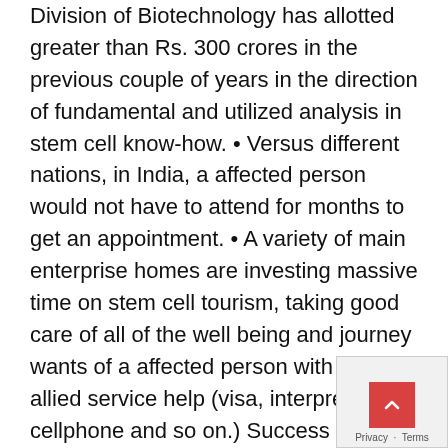Division of Biotechnology has allotted greater than Rs. 300 crores in the previous couple of years in the direction of fundamental and utilized analysis in stem cell know-how. • Versus different nations, in India, a affected person would not have to attend for months to get an appointment. • A variety of main enterprise homes are investing massive time on stem cell tourism, taking good care of all of the well being and journey wants of a affected person with even allied service help (visa, interpreters, cellphone and so on.) Success price of Stem Cell Remedy in India The quantifiable outcomes of stem cell remedy depend upon a spread of points, as an example the illness being handled, stage of the illness, age of the affected person and the interval between the graduation of the sickness and the remedy. In plenty of situations corresponding to muscular dystrophy there are excellent medical outcomes with greater than 90% sufferers exhibiting a passable medical enchancme... Alternatively within the ailments like motor neuron